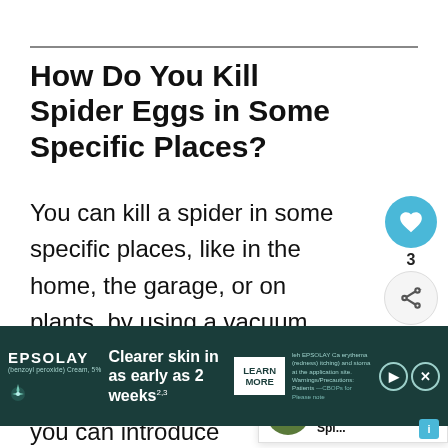How Do You Kill Spider Eggs in Some Specific Places?
You can kill a spider in some specific places, like in the home, the garage, or on plants, by using a vacuum cleaner or spraying pesticides around the area. Alternatively, you can introduce
natural predators of the spider, such as
[Figure (infographic): Social share sidebar with heart/like button (blue circle with heart icon), count number 3, and share button (circle with share icon)]
[Figure (infographic): WHAT'S NEXT callout box with small circular image of spider egg sac and text: How To Get Rid of a Spi...]
[Figure (advertisement): EPSOLAY advertisement banner: 'Clearer skin in as early as 2 weeks^23' with LEARN MORE button on dark teal background]